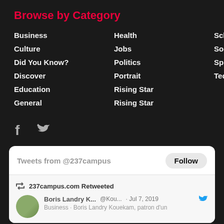Browse by Category
Business
Health
Scholarships
Culture
Jobs
Social
Did You Know?
Politics
Sports
Discover
Portrait
Technology
Education
Rising Star
General
Rising Star
[Figure (other): Social media icons: Facebook and Twitter]
[Figure (screenshot): Twitter widget showing Tweets from @237campus with Follow button, and a retweet by 237campus.com of Boris Landry K... @Kou... Jul 7, 2019 about Business: Boris Landry Kouekam, patron d'un]